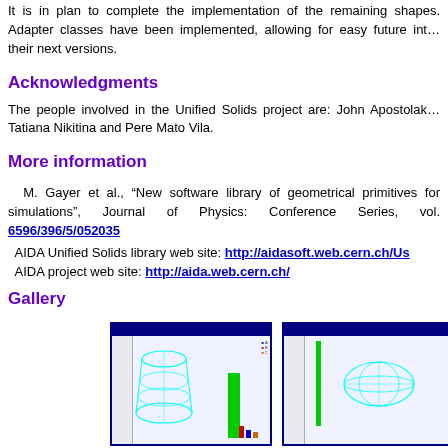It is in plan to complete the implementation of the remaining shapes. Adapter classes have been implemented, allowing for easy future integration in their next versions.
Acknowledgments
The people involved in the Unified Solids project are: John Apostolakis, Tatiana Nikitina and Pere Mato Vila.
More information
M. Gayer et al., “New software library of geometrical primitives for simulations”, Journal of Physics: Conference Series, vol. 6596/396/5/052035
AIDA Unified Solids library web site: http://aidasoft.web.cern.ch/US
AIDA project web site: http://aida.web.cern.ch/
Gallery
[Figure (screenshot): Screenshot of a simulation visualization showing a cyan wireframe cylinder shape and a green bar chart on a dark blue-bordered window]
[Figure (screenshot): Screenshot of a simulation visualization showing a cyan wireframe ellipsoid shape and a green vertical line on a dark blue-bordered window]